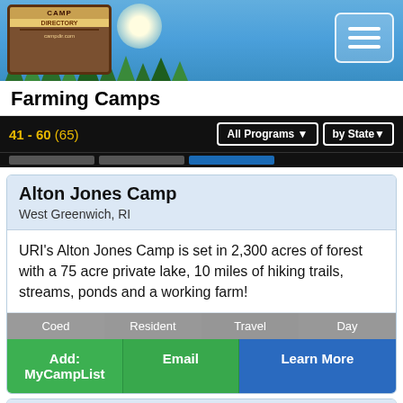[Figure (illustration): Camp website header banner with camp logo/sign on left, trees, sun, blue sky background, and hamburger menu button on right]
Farming Camps
41 - 60 (65)
All Programs ▼   by State ▼
Alton Jones Camp
West Greenwich, RI
URI's Alton Jones Camp is set in 2,300 acres of forest with a 75 acre private lake, 10 miles of hiking trails, streams, ponds and a working farm!
Coed
Resident
Travel
Day
Add: MyCampList
Email
Learn More
Usdan Center Summer Camp for the Arts
Wheatley Heights, NY